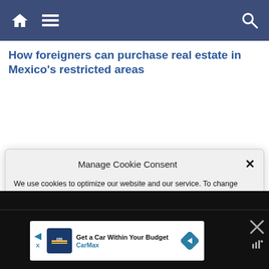Navigation bar with home, menu, and search icons
How foreigners can purchase real estate in Mexico's restricted areas
Manage Cookie Consent
We use cookies to optimize our website and our service. To change permissions please see the Consent section of our Cookie Policy linked below.
Accept
[Figure (screenshot): Black background section with CarMax advertisement banner showing 'Get a Car Within Your Budget' with CarMax logo and navigation arrow icon]